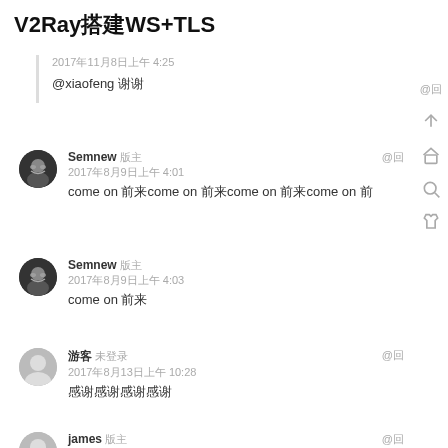V2Ray搭建WS+TLS
@xiaofeng 谢谢
Semnew 版主
2017年8月9日上午4:01
come on 前来come on 前来come on 前来come on 前
Semnew 版主
2017年8月9日上午4:03
come on 前来
游客 未登录
2017年8月13日上午10:28
感谢感谢感谢感谢
james 版主